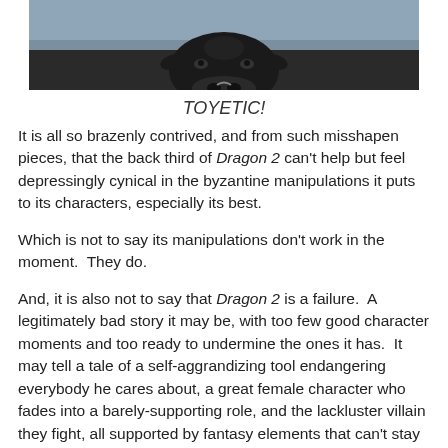[Figure (photo): Close-up photo of a dark-colored cow or bull head from above, with grey/blue sky background]
TOYETIC!
It is all so brazenly contrived, and from such misshapen pieces, that the back third of Dragon 2 can't help but feel depressingly cynical in the byzantine manipulations it puts to its characters, especially its best.
Which is not to say its manipulations don't work in the moment.  They do.
And, it is also not to say that Dragon 2 is a failure.  A legitimately bad story it may be, with too few good character moments and too ready to undermine the ones it has.  It may tell a tale of a self-aggrandizing tool endangering everybody he cares about, a great female character who fades into a barely-supporting role, and the lackluster villain they fight, all supported by fantasy elements that can't stay consistent from one scene to the next.